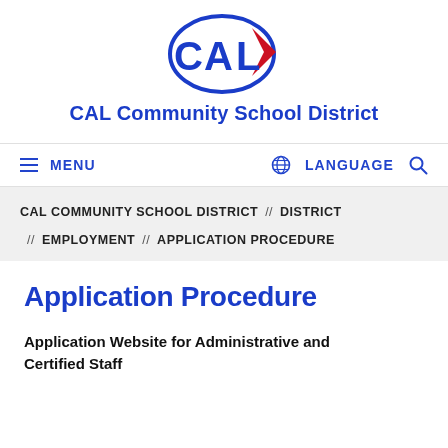[Figure (logo): CAL Community School District logo with stylized CAL letters in blue and red]
CAL Community School District
MENU  LANGUAGE
CAL COMMUNITY SCHOOL DISTRICT // DISTRICT // EMPLOYMENT // APPLICATION PROCEDURE
Application Procedure
Application Website for Administrative and Certified Staff